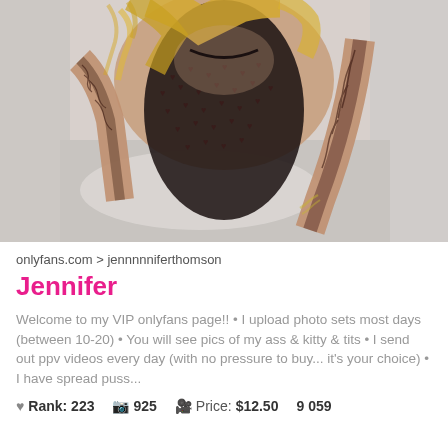[Figure (photo): Blonde woman with tattoos wearing a black lace/mesh bodysuit with heart pattern, posed in a room with white walls and pillows in background]
onlyfans.com > jennnnniferthomson
Jennifer
Welcome to my VIP onlyfans page!! • I upload photo sets most days (between 10-20) • You will see pics of my ass & kitty & tits • I send out ppv videos every day (with no pressure to buy... it's your choice) • I have spread puss...
♥ Rank: 223   📷 925   🎬 Price: $12.50   9 059